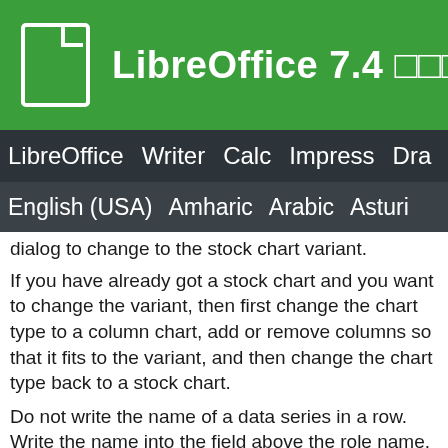LibreOffice 7.4 □□□□
LibreOffice  Writer  Calc  Impress  Draw
English (USA)  Amharic  Arabic  Asturi
dialog to change to the stock chart variant.
If you have already got a stock chart and you want to change the variant, then first change the chart type to a column chart, add or remove columns so that it fits to the variant, and then change the chart type back to a stock chart.
Do not write the name of a data series in a row. Write the name into the field above the role name.
The order of the rows determines how the categories are arranged in the chart. Use Move Row Down to change the order.